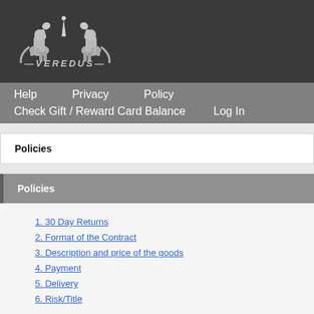[Figure (logo): Veredus logo with two silver rearing horses and the text VEREDUS in silver metallic lettering on a dark background]
Help   Privacy   Policy   Check Gift / Reward Card Balance   Log In
Policies
Policies
1. 30 Day Returns
2. Format of the Contract
3. Description and price of the goods
4. Payment
5. Delivery
6. Risk/Title